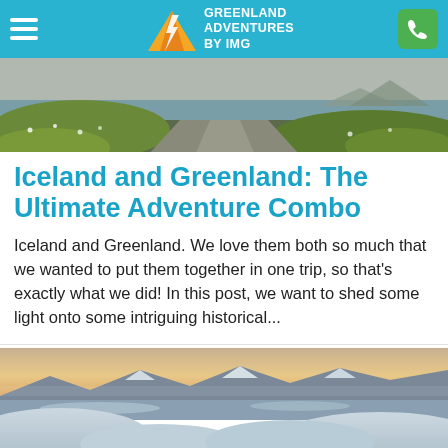GREENLAND ADVENTURES BY IMG
[Figure (photo): Landscape photo showing a grassy hillside with a gravel road/path and water in the background under a grey sky]
Iceland and Greenland: The Ultimate Adventure Combo
Iceland and Greenland. We love them both so much that we wanted to put them together in one trip, so that's exactly what we did! In this post, we want to shed some light onto some intriguing historical...
[Figure (photo): Winter landscape photo showing snow-covered mountains and a frozen bay/fjord with warm sunset light in the sky]